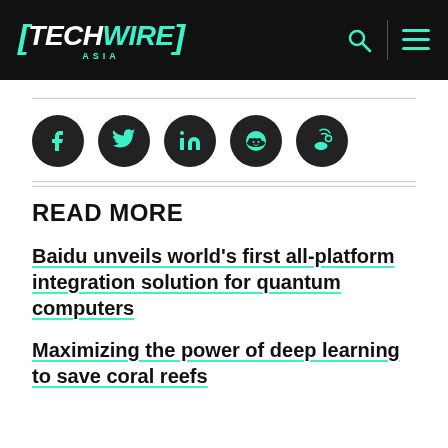TechWire Asia
[Figure (other): Social media share icons: Facebook, Twitter, LinkedIn, Reddit, Weibo]
READ MORE
Baidu unveils world's first all-platform integration solution for quantum computers
Maximizing the power of deep learning to save coral reefs